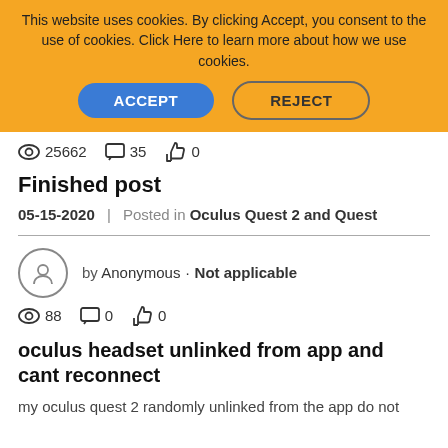This website uses cookies. By clicking Accept, you consent to the use of cookies. Click Here to learn more about how we use cookies.
ACCEPT | REJECT
👁 25662  💬 35  👍 0
Finished post
05-15-2020  |  Posted in Oculus Quest 2 and Quest
by Anonymous · Not applicable
👁 88  💬 0  👍 0
oculus headset unlinked from app and cant reconnect
my oculus quest 2 randomly unlinked from the app do not